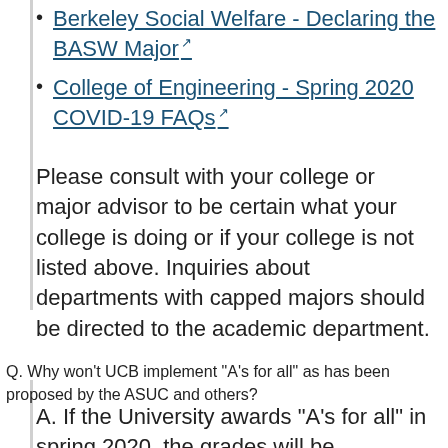Berkeley Social Welfare - Declaring the BASW Major
College of Engineering - Spring 2020 COVID-19 FAQs
Please consult with your college or major advisor to be certain what your college is doing or if your college is not listed above. Inquiries about departments with capped majors should be directed to the academic department.
Q. Why won't UCB implement “A’s for all” as has been proposed by the ASUC and others?
A. If the University awards “A’s for all” in spring 2020, the grades will be